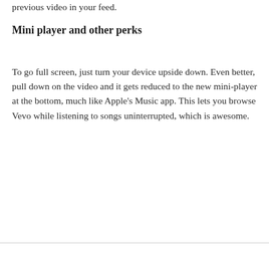previous video in your feed.
Mini player and other perks
To go full screen, just turn your device upside down. Even better, pull down on the video and it gets reduced to the new mini-player at the bottom, much like Apple's Music app. This lets you browse Vevo while listening to songs uninterrupted, which is awesome.